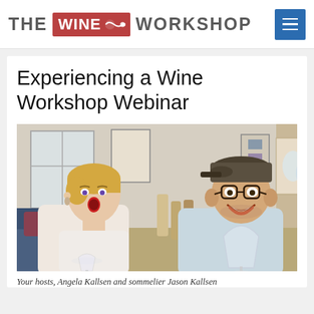THE WINE WORKSHOP
Experiencing a Wine Workshop Webinar
[Figure (photo): Two people sitting at a table holding wine glasses. Left: a blonde woman with mouth open in surprise. Right: a man wearing glasses and a baseball cap, smiling broadly. Wine bottles visible in the background on what appears to be a home living room setting.]
Your hosts, Angela Kallsen and sommelier Jason Kallsen